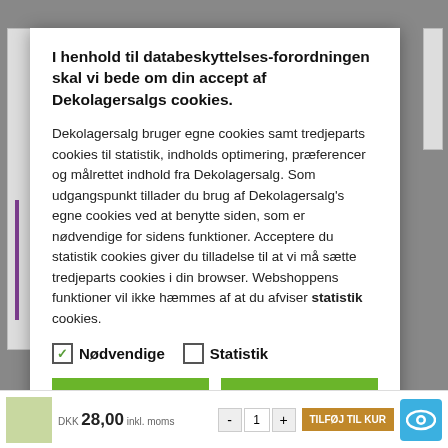I henhold til databeskyttelses-forordningen skal vi bede om din accept af Dekolagersalgs cookies.
Dekolagersalg bruger egne cookies samt tredjeparts cookies til statistik, indholds optimering, præferencer og målrettet indhold fra Dekolagersalg. Som udgangspunkt tillader du brug af Dekolagersalg's egne cookies ved at benytte siden, som er nødvendige for sidens funktioner. Acceptere du statistik cookies giver du tilladelse til at vi må sætte tredjeparts cookies i din browser. Webshoppens funktioner vil ikke hæmmes af at du afviser statistik cookies.
✓ Nødvendige
☐ Statistik
Tillad valgte
Tillad alle cookies